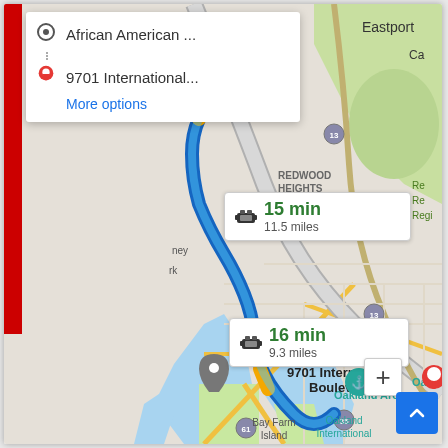[Figure (map): Google Maps screenshot showing driving directions from African American... to 9701 International Boulevard in Oakland, CA. The map shows two route options: one labeled 15 min / 11.5 miles and another labeled 16 min / 9.3 miles. The active route is shown in blue, passing through Oakland area including Oakland Arena, Bay Farm Island, Redwood Heights. The destination marker shows '9701 International Boulevard'. Map includes road labels, water bodies, and neighborhood names including Eastport, REDWOOD HEIGHTS, Oakland Arena, Bay Farm Island, Oakland International.]
African American ...
9701 International...
More options
15 min
11.5 miles
16 min
9.3 miles
9701 International Boulevard